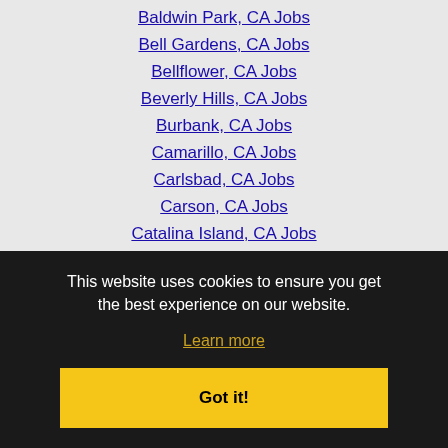Baldwin Park, CA Jobs
Bell Gardens, CA Jobs
Bellflower, CA Jobs
Beverly Hills, CA Jobs
Burbank, CA Jobs
Camarillo, CA Jobs
Carlsbad, CA Jobs
Carson, CA Jobs
Catalina Island, CA Jobs
Cathedral City, CA Jobs
Cerritos, CA Jobs
Chino, CA Jobs
Chino Hills, CA Jobs
Covina, CA Jobs
Cypress, CA Jobs
This website uses cookies to ensure you get the best experience on our website.
Learn more
Got it!